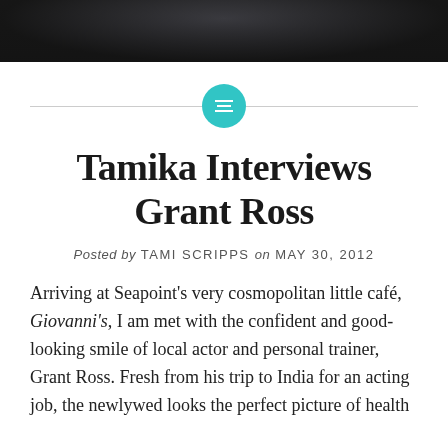[Figure (photo): Dark photographic strip showing people in formal/stylish attire, partially cropped at the top of the page]
Tamika Interviews Grant Ross
Posted by TAMI SCRIPPS on MAY 30, 2012
Arriving at Seapoint's very cosmopolitan little café, Giovanni's, I am met with the confident and good-looking smile of local actor and personal trainer, Grant Ross. Fresh from his trip to India for an acting job, the newlywed looks the perfect picture of health